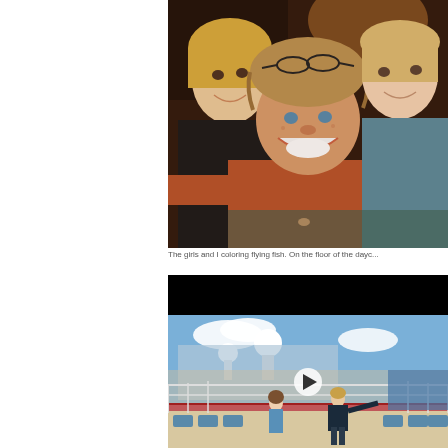[Figure (photo): Selfie photo of three smiling women/girls lying on the floor, taking a close-up photo. One woman with messy blonde hair in the center wearing a rust/salmon top, a younger blonde girl on the left, and another young girl on the right. Indoor setting with warm lighting.]
The girls and I coloring flying fish. On the floor of the dayc...
[Figure (screenshot): Video thumbnail showing a cruise ship deck scene with a woman and child/children walking on a running track, bright blue sky, ship structures and railings visible. A play button overlay is shown in the center, with a black bar at the top.]